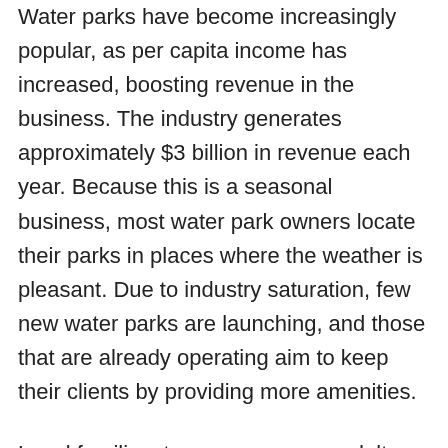Water parks have become increasingly popular, as per capita income has increased, boosting revenue in the business. The industry generates approximately $3 billion in revenue each year. Because this is a seasonal business, most water park owners locate their parks in places where the weather is pleasant. Due to industry saturation, few new water parks are launching, and those that are already operating aim to keep their clients by providing more amenities.
Local families, teenagers, young adults, and tourists are the most likely to attend a water park, and this is the demographic to target for